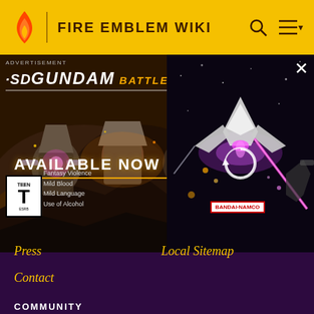FIRE EMBLEM WIKI
[Figure (screenshot): SD Gundam Battle Alliance advertisement banner showing 'AVAILABLE NOW' with mech characters, ESRB Teen rating, Bandai Namco branding, and a gameplay video thumbnail on the right side.]
Press
Local Sitemap
Contact
COMMUNITY
Community Central
Help
Support